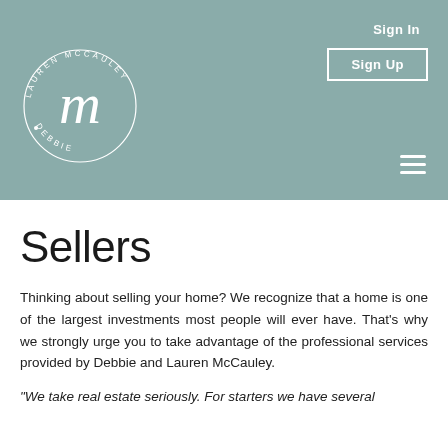[Figure (logo): Debbie + Lauren McCauley circular logo with stylized M monogram in white on teal background]
Sign In
Sign Up
Sellers
Thinking about selling your home? We recognize that a home is one of the largest investments most people will ever have. That's why we strongly urge you to take advantage of the professional services provided by Debbie and Lauren McCauley.
"We take real estate seriously. For starters we have several